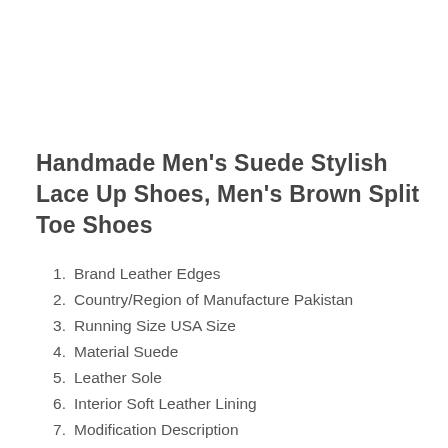Handmade Men's Suede Stylish Lace Up Shoes, Men's Brown Split Toe Shoes
Brand Leather Edges
Country/Region of Manufacture Pakistan
Running Size USA Size
Material Suede
Leather Sole
Interior Soft Leather Lining
Modification Description
Occasion Casual